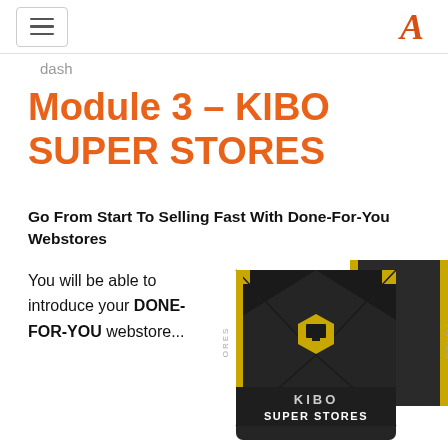Navigation header with hamburger menu and logo
Dash
Module 3 – KIBO SUPER STORES
Go From Start To Selling Fast With Done-For-You Webstores
You will be able to introduce your DONE-FOR-YOU webstore...
[Figure (photo): KIBO SUPER STORES product box set — dark black box with gold geometric design and hexagon logo, showing 'KIBO SUPER STORES' text on the front]